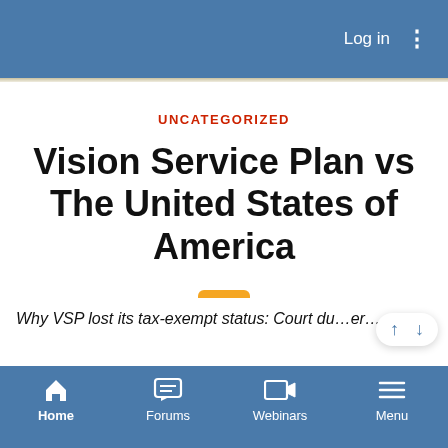Log in
UNCATEGORIZED
Vision Service Plan vs The United States of America
AdminWolf
Apr 11, 2008 at 12:55 AM
Why VSP lost its tax-exempt status: Court d…er…
Home  Forums  Webinars  Menu